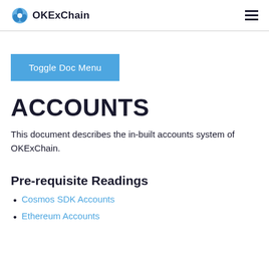OKExChain
Toggle Doc Menu
ACCOUNTS
This document describes the in-built accounts system of OKExChain.
Pre-requisite Readings
Cosmos SDK Accounts
Ethereum Accounts